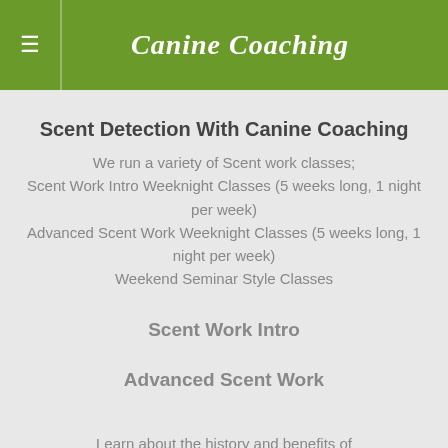Canine Coaching
Scent Detection With Canine Coaching
We run a variety of Scent work classes;
Scent Work Intro Weeknight Classes (5 weeks long, 1 night per week)
Advanced Scent Work Weeknight Classes (5 weeks long, 1 night per week)
Weekend Seminar Style Classes
Scent Work Intro
Advanced Scent Work
Learn about the history and benefits of